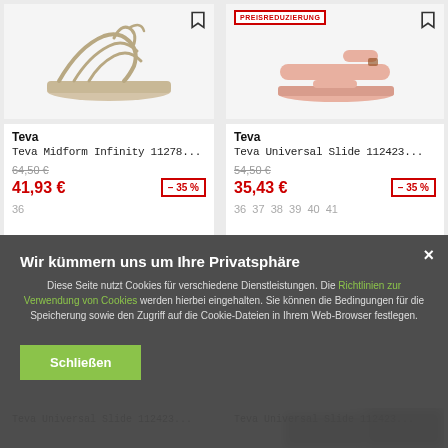[Figure (photo): Teva Midform Infinity sandal in beige/tan color on light gray background]
[Figure (photo): Teva Universal Slide sandal in pink/salmon color on light gray background with PREISREDUZIERUNG badge]
Teva
Teva Midform Infinity 11278...
64,50 €  41,93 €  – 35 %
36
Teva
Teva Universal Slide 112423...
54,50 €  35,43 €  – 35 %
36  37  38  39  40  41
Wir kümmern uns um Ihre Privatsphäre
Diese Seite nutzt Cookies für verschiedene Dienstleistungen. Die Richtlinien zur Verwendung von Cookies werden hierbei eingehalten. Sie können die Bedingungen für die Speicherung sowie den Zugriff auf die Cookie-Dateien in Ihrem Web-Browser festlegen.
Schließen
Teva Universal Slide 112423...
Teva Universal Slide 112423...